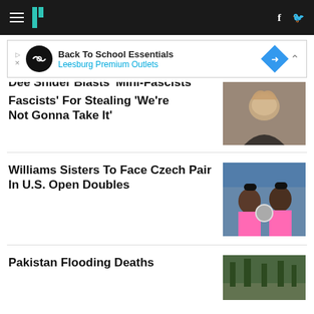HuffPost navigation with hamburger menu, logo, Facebook and Twitter icons
[Figure (screenshot): Advertisement banner: Back To School Essentials - Leesburg Premium Outlets]
Dee Snider Blasts 'Mini-Fascists' For Stealing 'We're Not Gonna Take It'
[Figure (photo): Woman with curly hair appearing to shout angrily]
Williams Sisters To Face Czech Pair In U.S. Open Doubles
[Figure (photo): Two women in pink athletic wear holding a trophy]
Pakistan Flooding Deaths
[Figure (photo): Outdoor scene with trees and people]